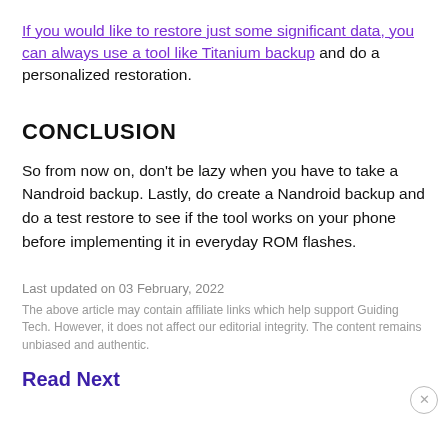If you would like to restore just some significant data, you can always use a tool like Titanium backup and do a personalized restoration.
CONCLUSION
So from now on, don’t be lazy when you have to take a Nandroid backup. Lastly, do create a Nandroid backup and do a test restore to see if the tool works on your phone before implementing it in everyday ROM flashes.
Last updated on 03 February, 2022
The above article may contain affiliate links which help support Guiding Tech. However, it does not affect our editorial integrity. The content remains unbiased and authentic.
Read Next